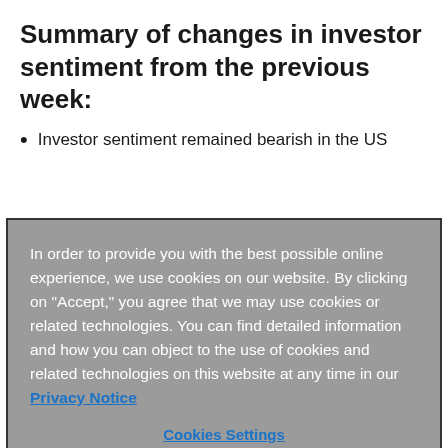Summary of changes in investor sentiment from the previous week:
Investor sentiment remained bearish in the US
In order to provide you with the best possible online experience, we use cookies on our website. By clicking on "Accept," you agree that we may use cookies or related technologies. You can find detailed information and how you can object to the use of cookies and related technologies on this website at any time in our Privacy Notice
Cookies Settings
Necessary Cookies
Accept All Cookies